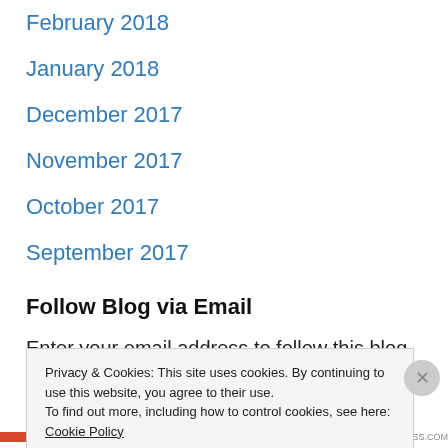February 2018
January 2018
December 2017
November 2017
October 2017
September 2017
Follow Blog via Email
Enter your email address to follow this blog and receive
Privacy & Cookies: This site uses cookies. By continuing to use this website, you agree to their use. To find out more, including how to control cookies, see here: Cookie Policy
Close and accept